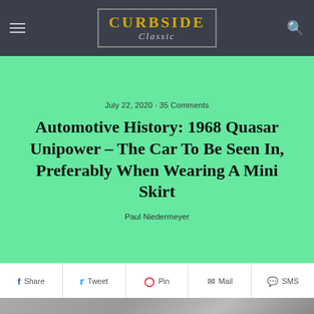Curbside Classic [navigation logo]
July 22, 2020 · 35 Comments
Automotive History: 1968 Quasar Unipower – The Car To Be Seen In, Preferably When Wearing A Mini Skirt
Paul Niedermeyer
Share  Tweet  Pin  Mail  SMS
[Figure (photo): Black and white photograph of the 1968 Quasar Unipower car with people around it on a street]